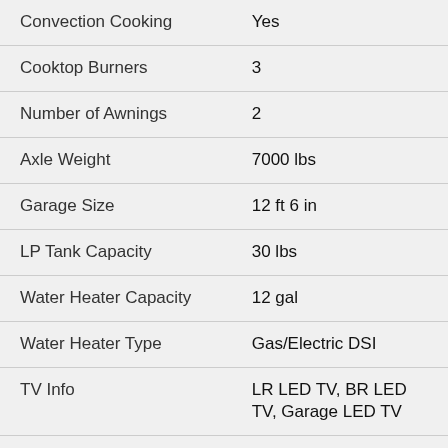| Feature | Value |
| --- | --- |
| Convection Cooking | Yes |
| Cooktop Burners | 3 |
| Number of Awnings | 2 |
| Axle Weight | 7000 lbs |
| Garage Size | 12 ft 6 in |
| LP Tank Capacity | 30 lbs |
| Water Heater Capacity | 12 gal |
| Water Heater Type | Gas/Electric DSI |
| TV Info | LR LED TV, BR LED TV, Garage LED TV |
| Awning Info | 10' and 14' Power w/LED Lighting & |